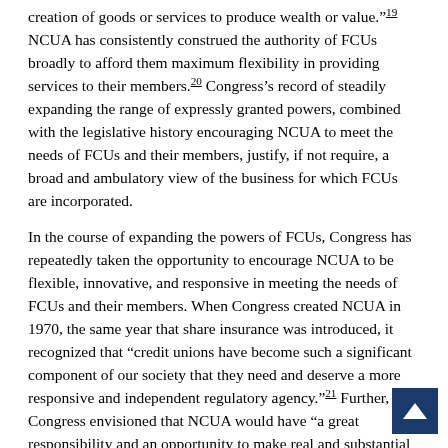creation of goods or services to produce wealth or value."19 NCUA has consistently construed the authority of FCUs broadly to afford them maximum flexibility in providing services to their members.20 Congress's record of steadily expanding the range of expressly granted powers, combined with the legislative history encouraging NCUA to meet the needs of FCUs and their members, justify, if not require, a broad and ambulatory view of the business for which FCUs are incorporated.
In the course of expanding the powers of FCUs, Congress has repeatedly taken the opportunity to encourage NCUA to be flexible, innovative, and responsive in meeting the needs of FCUs and their members. When Congress created NCUA in 1970, the same year that share insurance was introduced, it recognized that "credit unions have become such a significant component of our society that they need and deserve a more responsive and independent regulatory agency."21 Further, Congress envisioned that NCUA would have "a great responsibility and an opportunity to make real and substantial contributions to our society," and "would be able to be more responsive to the needs of credit unions and to provide more flexible and innovative regulation."22
When Congress amended the FCU Act in 1977 to add an